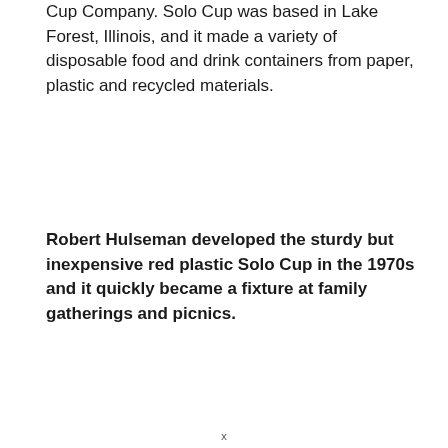Cup Company. Solo Cup was based in Lake Forest, Illinois, and it made a variety of disposable food and drink containers from paper, plastic and recycled materials.
Robert Hulseman developed the sturdy but inexpensive red plastic Solo Cup in the 1970s and it quickly became a fixture at family gatherings and picnics.
x